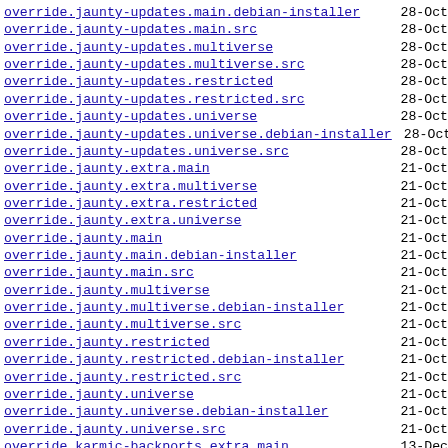override.jaunty-updates.main.debian-installer  28-Oct
override.jaunty-updates.main.src  28-Oct
override.jaunty-updates.multiverse  28-Oct
override.jaunty-updates.multiverse.src  28-Oct
override.jaunty-updates.restricted  28-Oct
override.jaunty-updates.restricted.src  28-Oct
override.jaunty-updates.universe  28-Oct
override.jaunty-updates.universe.debian-installer  28-Oct
override.jaunty-updates.universe.src  28-Oct
override.jaunty.extra.main  21-Oct
override.jaunty.extra.multiverse  21-Oct
override.jaunty.extra.restricted  21-Oct
override.jaunty.extra.universe  21-Oct
override.jaunty.main  21-Oct
override.jaunty.main.debian-installer  21-Oct
override.jaunty.main.src  21-Oct
override.jaunty.multiverse  21-Oct
override.jaunty.multiverse.debian-installer  21-Oct
override.jaunty.multiverse.src  21-Oct
override.jaunty.restricted  21-Oct
override.jaunty.restricted.debian-installer  21-Oct
override.jaunty.restricted.src  21-Oct
override.jaunty.universe  21-Oct
override.jaunty.universe.debian-installer  21-Oct
override.jaunty.universe.src  21-Oct
override.karmic-backports.extra.main  13-Dec
override.karmic-backports.extra.multiverse  13-Dec
override.karmic-backports.extra.restricted  13-Dec
override.karmic-backports.extra.universe  13-Dec
override.karmic-backports.main  13-Dec